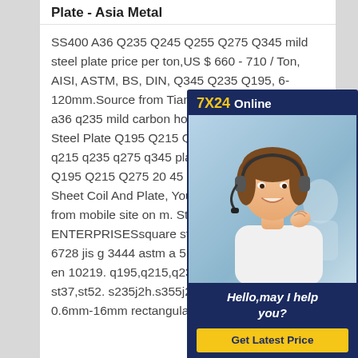Plate - Asia Metal
SS400 A36 Q235 Q245 Q255 Q275 Q345 mild steel plate price per ton,US $ 660 - 710 / Ton, AISI, ASTM, BS, DIN, Q345 Q235 Q195, 6-120mm.Source from Tianjin TEDA high quality a36 q235 mild carbon hot rolled steel Source Steel Plate Q195 Q215 Q235 Q245 C45 q195 q215 q235 q275 q345 plateMarine Steel Plate Q195 Q215 Q275 20 45 C45 Hot Rolled Ship Sheet Coil And Plate, You can get details about from mobile site on m. Steel Rich ENTERPRISESsquare steel tube gb/t 3091 gb/t 6728 jis g 3444 astm a 513 astm a 500 bs 1387 en 10219. q195,q215,q235,q345, gr.a,gr.b,gr.c st37,st52. s235j2h.s355j2h. 20*20-400*400mm x 0.6mm-16mm rectangular
[Figure (photo): Customer service representative with headset, 7X24 Online chat widget with 'Hello, may I help you?' message and 'Get Latest Price' button]